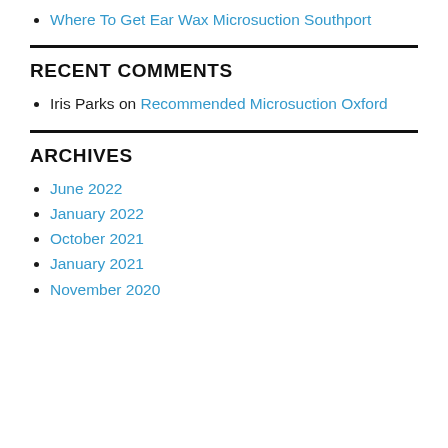Where To Get Ear Wax Microsuction Southport
RECENT COMMENTS
Iris Parks on Recommended Microsuction Oxford
ARCHIVES
June 2022
January 2022
October 2021
January 2021
November 2020